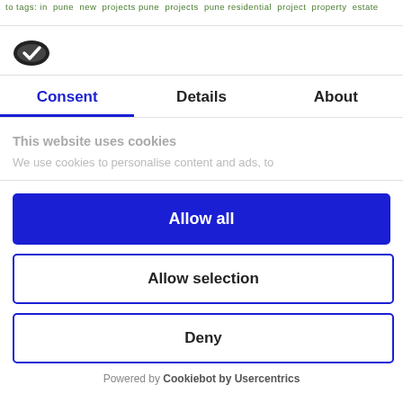to tags: in pune new projects pune projects pune residential project property estate
[Figure (logo): Cookiebot logo — dark oval shape with checkmark]
Consent | Details | About
This website uses cookies
We use cookies to personalise content and ads, to
Allow all
Allow selection
Deny
Powered by Cookiebot by Usercentrics